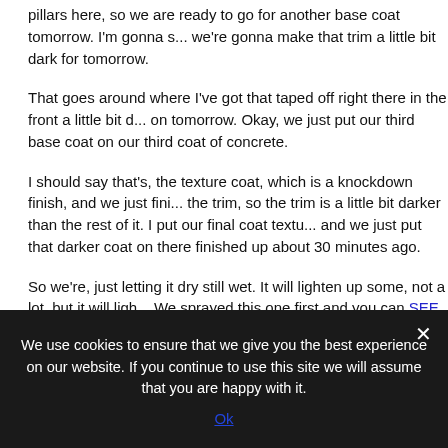pillars here, so we are ready to go for another base coat tomorrow. I'm gonna s... we're gonna make that trim a little bit dark for tomorrow.
That goes around where I've got that taped off right there in the front a little bit d... on tomorrow. Okay, we just put our third base coat on our third coat of concrete.
I should say that's, the texture coat, which is a knockdown finish, and we just fini... the trim, so the trim is a little bit darker than the rest of it. I put our final coat textu... and we just put that darker coat on there finished up about 30 minutes ago.
So we're, just letting it dry still wet. It will lighten up some, not a lot, but it will ligh... We sprayed this one first and you can SEE WHERE THIS ONE IS lightening up... splotchy.
You see the dark spots, you see the light spots so that light area is actually dry n... darken back down as we seal it. Tomorrow I'm going to come back and seal this... down a few shades too, but it's.
You know it's completely dry and then this will. This will actually go back to the d... sealed, but it dries quite a bit lighter so anyways, as you can tell you know this o
We use cookies to ensure that we give you the best experience on our website. If you continue to use this site we will assume that you are happy with it.
Ok